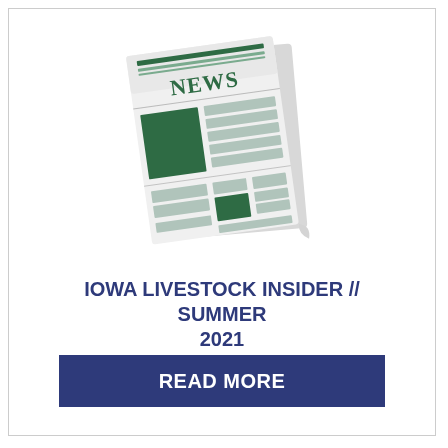[Figure (illustration): A stylized newspaper icon with 'NEWS' text at the top in dark green, with green and grey blocks representing text columns and image placeholders, slightly tilted.]
IOWA LIVESTOCK INSIDER // SUMMER 2021
READ MORE